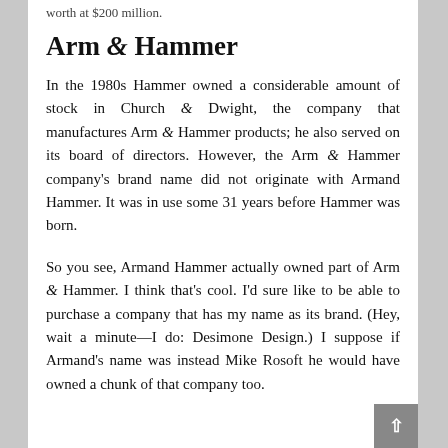worth at $200 million.
Arm & Hammer
In the 1980s Hammer owned a considerable amount of stock in Church & Dwight, the company that manufactures Arm & Hammer products; he also served on its board of directors. However, the Arm & Hammer company's brand name did not originate with Armand Hammer. It was in use some 31 years before Hammer was born.
So you see, Armand Hammer actually owned part of Arm & Hammer. I think that's cool. I'd sure like to be able to purchase a company that has my name as its brand. (Hey, wait a minute—I do: Desimone Design.) I suppose if Armand's name was instead Mike Rosoft he would have owned a chunk of that company too.